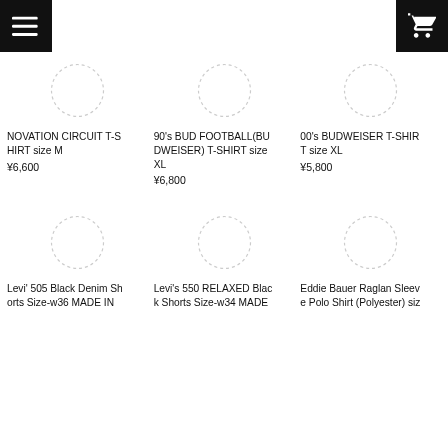Navigation and cart buttons
[Figure (other): Placeholder circle image for NOVATION CIRCUIT T-SHIRT size M]
NOVATION CIRCUIT T-SHIRT size M
¥6,600
[Figure (other): Placeholder circle image for 90's BUD FOOTBALL(BUDWEISER) T-SHIRT size XL]
90's BUD FOOTBALL(BUDWEISER) T-SHIRT size XL
¥6,800
[Figure (other): Placeholder circle image for 00's BUDWEISER T-SHIRT size XL]
00's BUDWEISER T-SHIRT size XL
¥5,800
[Figure (other): Placeholder circle image for Levi' 505 Black Denim Shorts Size-w36 MADE IN]
Levi' 505 Black Denim Shorts Size-w36 MADE IN
[Figure (other): Placeholder circle image for Levi's 550 RELAXED Black Shorts Size-w34 MADE]
Levi's 550 RELAXED Black Shorts Size-w34 MADE
[Figure (other): Placeholder circle image for Eddie Bauer Raglan Sleeve Polo Shirt (Polyester) siz]
Eddie Bauer Raglan Sleeve Polo Shirt (Polyester) siz